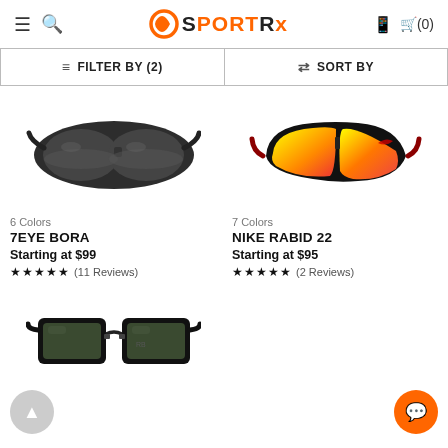SportRx
FILTER BY (2)  |  SORT BY
[Figure (photo): 7Eye Bora sport sunglasses with black foam-padded frame and dark grey lenses]
6 Colors
7EYE BORA
Starting at $99
★★★★★ (11 Reviews)
[Figure (photo): Nike Rabid 22 sport sunglasses with black and red frame and orange/yellow mirrored lenses]
7 Colors
NIKE RABID 22
Starting at $95
★★★★★ (2 Reviews)
[Figure (photo): Ray-Ban style classic black wayfarer sunglasses with dark green lenses]